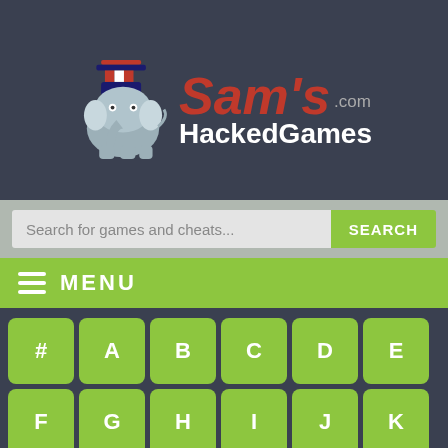[Figure (logo): Sam's HackedGames.com logo with cartoon elephant wearing patriotic Uncle Sam hat, red text 'Sam's' with .com, white text 'HackedGames' below]
Search for games and cheats...
SEARCH
MENU
# A B C D E F G H I J K L M N O P Q R S T U V W X Y Z